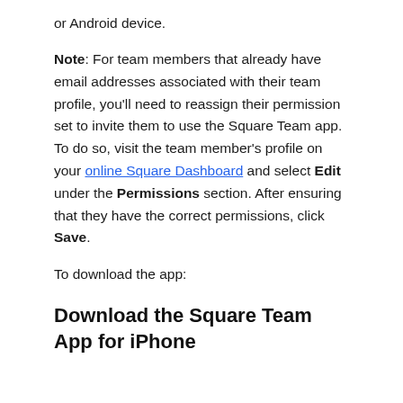or Android device.
Note: For team members that already have email addresses associated with their team profile, you’ll need to reassign their permission set to invite them to use the Square Team app. To do so, visit the team member’s profile on your online Square Dashboard and select Edit under the Permissions section. After ensuring that they have the correct permissions, click Save.
To download the app:
Download the Square Team App for iPhone